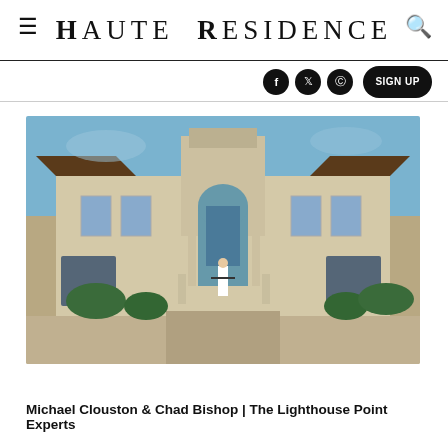Haute Residence
[Figure (photo): Exterior of a large luxury Mediterranean-style mansion with a prominent arched entryway, stone facade, a person standing in the doorway with arms outstretched, surrounded by manicured landscaping under a blue sky.]
Michael Clouston & Chad Bishop | The Lighthouse Point Experts